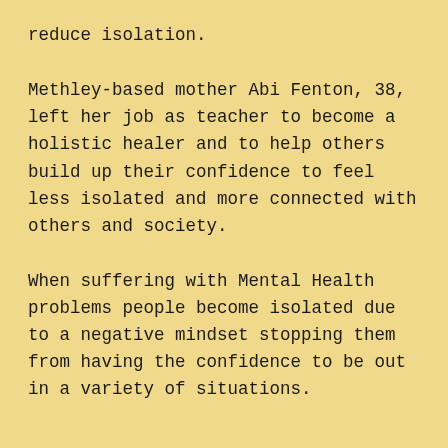reduce isolation.
Methley-based mother Abi Fenton, 38, left her job as teacher to become a holistic healer and to help others build up their confidence to feel less isolated and more connected with others and society.
When suffering with Mental Health problems people become isolated due to a negative mindset stopping them from having the confidence to be out in a variety of situations.